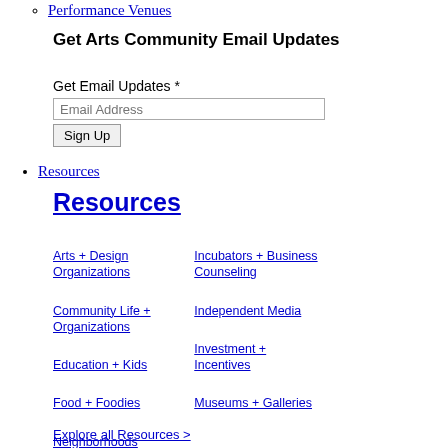Performance Venues
Get Arts Community Email Updates
Get Email Updates *
[Figure (other): Email address input field with placeholder text 'Email Address' and a Sign Up button]
Resources
Resources
Arts + Design Organizations
Incubators + Business Counseling
Neighborhoods
Community Life + Organizations
Independent Media
Performance Venues
Education + Kids
Investment + Incentives
Professional Groups
Food + Foodies
Museums + Galleries
Workspaces
Explore all Resources >